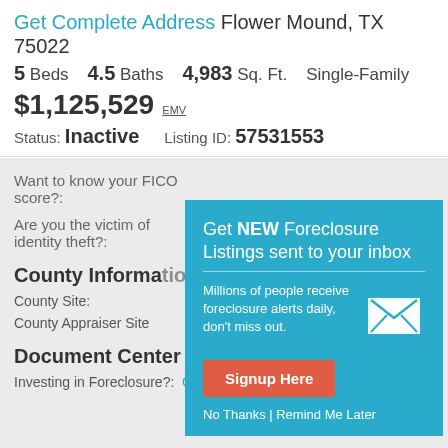Get Complete Address Flower Mound, TX 75022
5 Beds  4.5 Baths  4,983 Sq. Ft.  Single-Family
$1,125,529 EMV
Status: Inactive   Listing ID: 57531553
Want to know your FICO score?:
Are you the victim of identity theft?:
County Information
County Site:
County Appraiser Site
Document Center
Investing in Foreclosure?:  Get a Title Search
[Figure (infographic): Popup modal with teal background prompting user to sign up for new foreclosure listings sent to inbox. Contains title 'Get NEW Foreclosure Listings sent to your inbox', description text, envelope icon, red Signup Here button, and No Thanks | Remind Me Later links.]